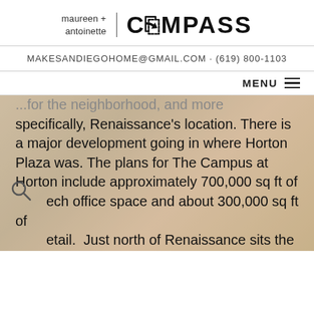maureen + antoinette | COMPASS
MAKESANDIEGOHOME@GMAIL.COM · (619) 800-1103
MENU
...for the neighborhood, and more specifically, Renaissance's location. There is a major development going in where Horton Plaza was. The plans for The Campus at Horton include approximately 700,000 sq ft of tech office space and about 300,000 sq ft of retail.  Just north of Renaissance sits the Paladion, which just went through an extensive remodel and is also expected to be used as tech office space. Lastly, just several blocks